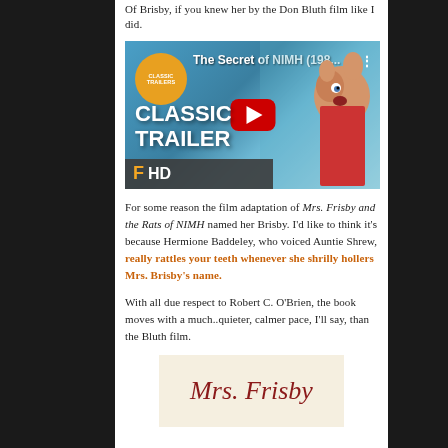Of Brisby, if you knew her by the Don Bluth film like I did.
[Figure (screenshot): YouTube video thumbnail for 'The Secret of NIMH (198...' - Classic Trailers HD, showing animated mouse character from the film, with red YouTube play button in center, 'CLASSIC TRAILER' text overlay, and Fandango HD branding at bottom left.]
For some reason the film adaptation of Mrs. Frisby and the Rats of NIMH named her Brisby. I'd like to think it's because Hermione Baddeley, who voiced Auntie Shrew, really rattles your teeth whenever she shrilly hollers Mrs. Brisby's name.
With all due respect to Robert C. O'Brien, the book moves with a much..quieter, calmer pace, I'll say, than the Bluth film.
[Figure (photo): Book cover of 'Mrs. Frisby' with cream/beige background and red italic title text]